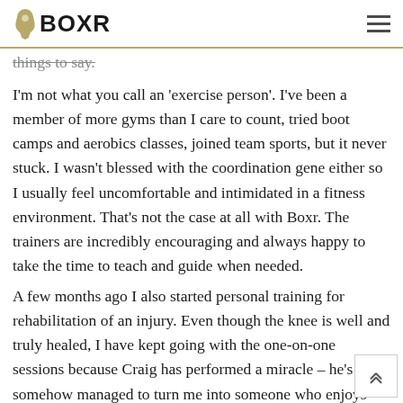BOXR
things to say.
I'm not what you call an 'exercise person'. I've been a member of more gyms than I care to count, tried boot camps and aerobics classes, joined team sports, but it never stuck. I wasn't blessed with the coordination gene either so I usually feel uncomfortable and intimidated in a fitness environment. That's not the case at all with Boxr. The trainers are incredibly encouraging and always happy to take the time to teach and guide when needed.
A few months ago I also started personal training for rehabilitation of an injury. Even though the knee is well and truly healed, I have kept going with the one-on-one sessions because Craig has performed a miracle – he's somehow managed to turn me into someone who enjoys training.